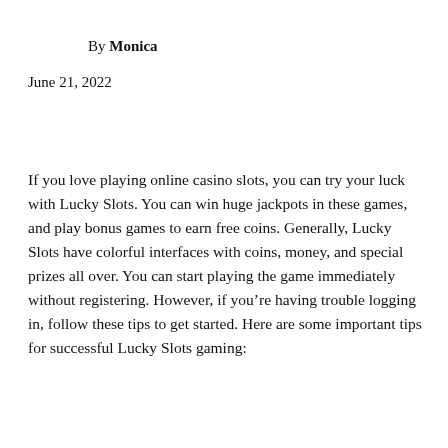By Monica
June 21, 2022
If you love playing online casino slots, you can try your luck with Lucky Slots. You can win huge jackpots in these games, and play bonus games to earn free coins. Generally, Lucky Slots have colorful interfaces with coins, money, and special prizes all over. You can start playing the game immediately without registering. However, if you’re having trouble logging in, follow these tips to get started. Here are some important tips for successful Lucky Slots gaming: